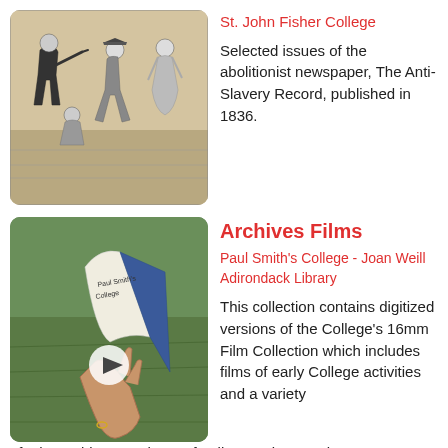[Figure (illustration): Historical black and white engraving showing several figures in period dress, appearing to be a dramatic scene]
St. John Fisher College
Selected issues of the abolitionist newspaper, The Anti-Slavery Record, published in 1836.
[Figure (photo): Photo of a hand holding open a book titled Paul Smith's College on a grassy background, with a video play button overlay]
Archives Films
Paul Smith's College - Joan Weill Adirondack Library
This collection contains digitized versions of the College's 16mm Film Collection which includes films of early College activities and a variety of other subjects such as a family vacation, product demonstrations, and maple syrup operations as well as footage of the 1910 fires at Paul Smith's Hotel